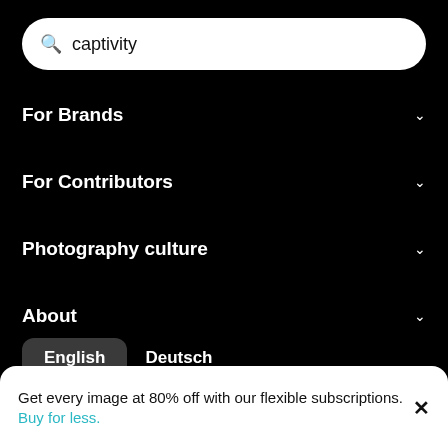[Figure (screenshot): Search bar with magnifying glass icon and query text 'captivity' on white rounded rectangle background]
For Brands
For Contributors
Photography culture
About
English   Deutsch
© 2022 EyeEm Mobile GmbH.
Privacy   Terms of Service   Imprint
Get every image at 80% off with our flexible subscriptions. Buy for less.